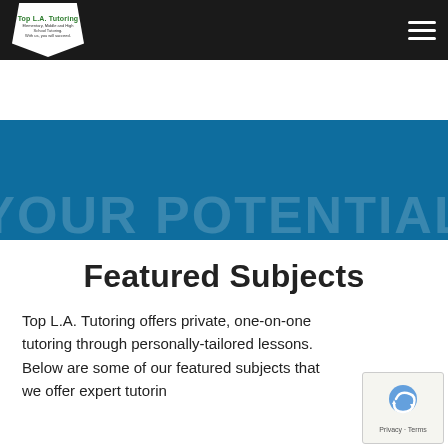Top L.A. Tutoring — Elementary, Middle and High School Tutoring. With us, you will succeed.
[Figure (other): Hero banner with teal/dark blue background showing large faded white text: YOUR POTENTIAL]
Featured Subjects
Top L.A. Tutoring offers private, one-on-one tutoring through personally-tailored lessons. Below are some of our featured subjects that we offer expert tutorin